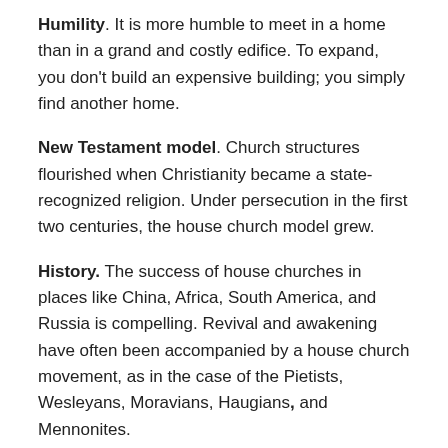Humility.  It is more humble to meet in a home than in a grand and costly edifice.  To expand, you don't build an expensive building; you simply find another home.
New Testament model.  Church structures flourished when Christianity became a state-recognized religion.  Under persecution in the first two centuries, the house church model grew.
History. The success of house churches in places like China, Africa, South America, and Russia is compelling.  Revival and awakening have often been accompanied by a house church movement, as in the case of the Pietists, Wesleyans, Moravians, Haugians, and Mennonites.
E…